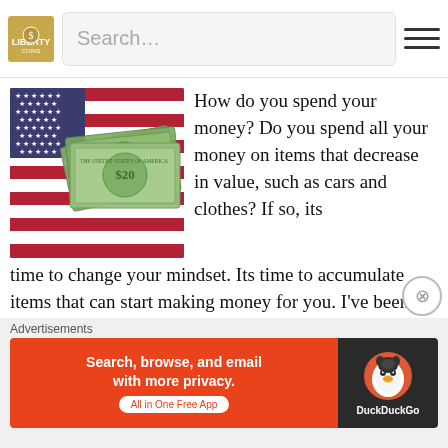Search...
[Figure (photo): US dollar bills fanned out on top of an American flag]
How do you spend your money? Do you spend all your money on items that decrease in value, such as cars and clothes? If so, its time to change your mindset. Its time to accumulate items that can start making money for you. I've been saying for a while there will be another stimulus check.
READ MORE →
Advertisements
[Figure (screenshot): DuckDuckGo advertisement banner: Search, browse, and email with more privacy. All in One Free App]